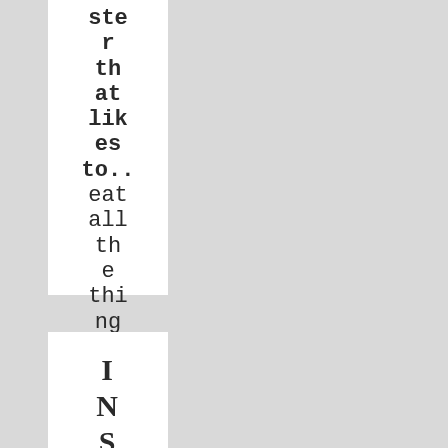ster that likes to.. eat all the things...
INSTA